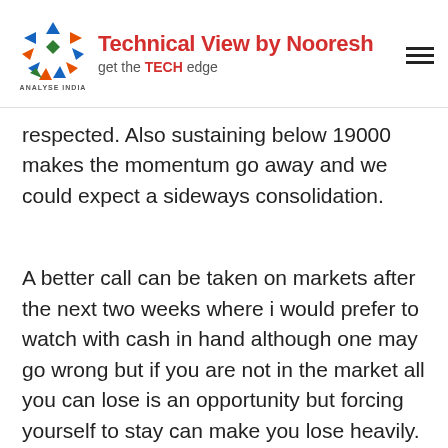Technical View by Nooresh — get the TECH edge | Analyse India
respected. Also sustaining below 19000 makes the momentum go away and we could expect a sideways consolidation.
A better call can be taken on markets after the next two weeks where i would prefer to watch with cash in hand although one may go wrong but if you are not in the market all you can lose is an opportunity but forcing yourself to stay can make you lose heavily.